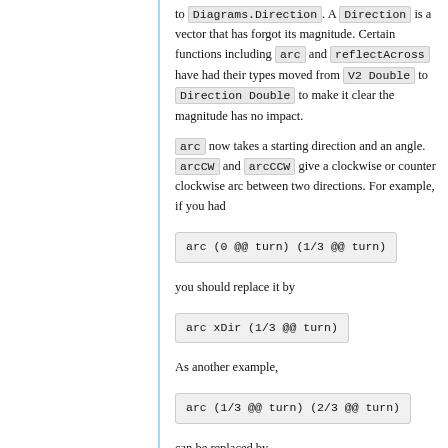to Diagrams.Direction. A Direction is a vector that has forgot its magnitude. Certain functions including arc and reflectAcross have had their types moved from V2 Double to Direction Double to make it clear the magnitude has no impact.
arc now takes a starting direction and an angle. arcCW and arcCCW give a clockwise or counter clockwise arc between two directions. For example, if you had
arc (0 @@ turn) (1/3 @@ turn)
you should replace it by
arc xDir (1/3 @@ turn)
As another example,
arc (1/3 @@ turn) (2/3 @@ turn)
can be replaced by